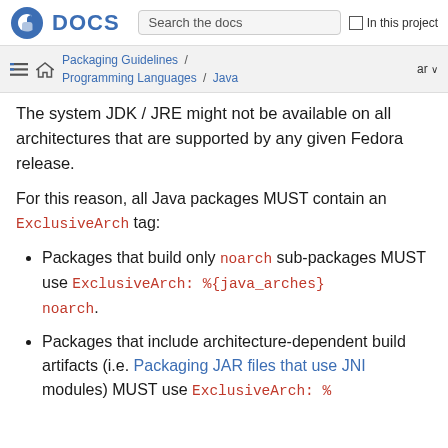Fedora DOCS | Search the docs | In this project
Packaging Guidelines / Programming Languages / Java | ar
The system JDK / JRE might not be available on all architectures that are supported by any given Fedora release.
For this reason, all Java packages MUST contain an ExclusiveArch tag:
Packages that build only noarch sub-packages MUST use ExclusiveArch: %{java_arches} noarch.
Packages that include architecture-dependent build artifacts (i.e. Packaging JAR files that use JNI modules) MUST use ExclusiveArch: %